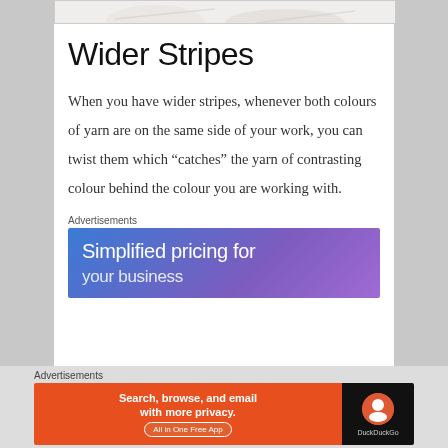[Figure (photo): Partial image of yarn/knitting at top of page, white background]
Wider Stripes
When you have wider stripes, whenever both colours of yarn are on the same side of your work, you can twist them which “catches” the yarn of contrasting colour behind the colour you are working with.
Advertisements
[Figure (screenshot): Advertisement banner: Simplified pricing for... with blue/purple gradient background]
Advertisements
[Figure (screenshot): DuckDuckGo advertisement: Search, browse, and email with more privacy. All in One Free App]